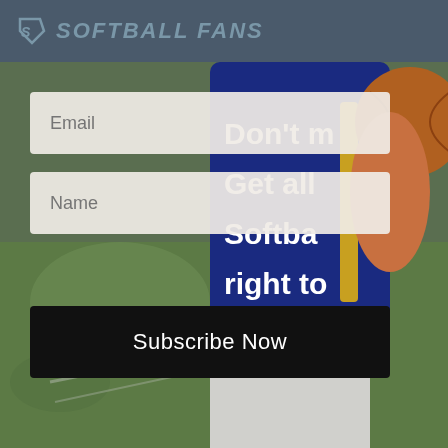SOFTBALL FANS
[Figure (photo): Softball player in blue jersey and white pants holding a ball, blurred outdoor background with grass]
Don't m
Get all
Softba
right to
Email
Name
Subscribe Now